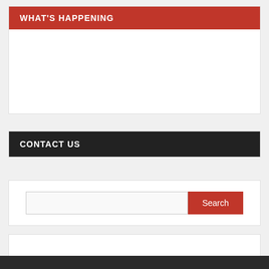WHAT'S HAPPENING
CONTACT US
Search